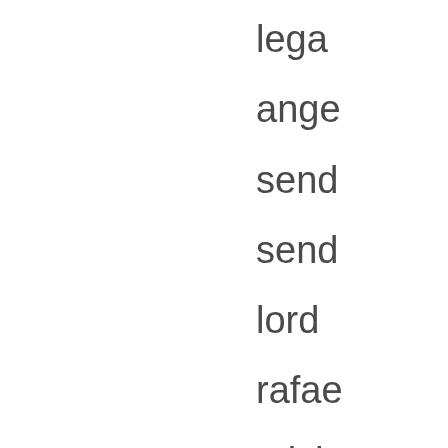lega
ange
send
send
lord
rafae
mich
desp
man
mon
clea
i rea
help
diffic
time